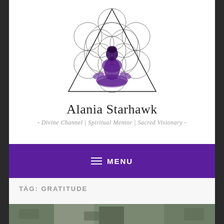[Figure (logo): Meditation figure silhouette in purple/dark sitting in lotus pose, overlaid on a Flower of Life sacred geometry circle pattern, all inside a triangle outline. Black line art with purple-toned figure.]
Alania Starhawk
- Divine Channel | Spiritual Mentor | Sacred Visionary -
≡ MENU
TAG: GRATITUDE
[Figure (photo): Partial photo visible at the bottom of the page, appears to be a nature or outdoor scene.]